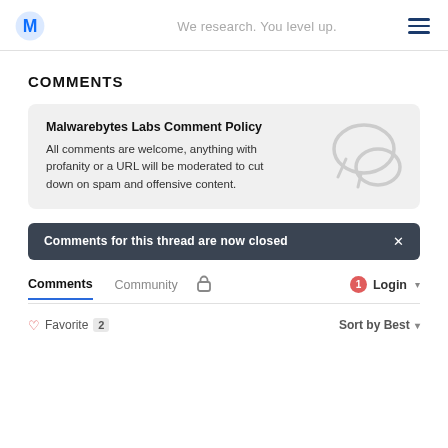We research. You level up.
COMMENTS
Malwarebytes Labs Comment Policy
All comments are welcome, anything with profanity or a URL will be moderated to cut down on spam and offensive content.
Comments for this thread are now closed
Comments  Community  Login
Favorite 2  Sort by Best